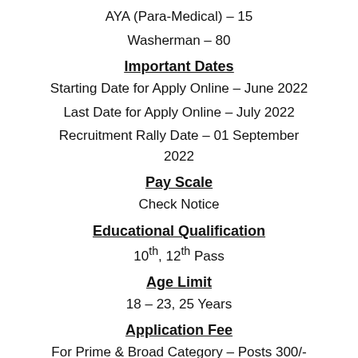AYA (Para-Medical) – 15
Washerman – 80
Important Dates
Starting Date for Apply Online – June 2022
Last Date for Apply Online – July 2022
Recruitment Rally Date – 01 September 2022
Pay Scale
Check Notice
Educational Qualification
10th, 12th Pass
Age Limit
18 – 23, 25 Years
Application Fee
For Prime & Broad Category – Posts 300/-